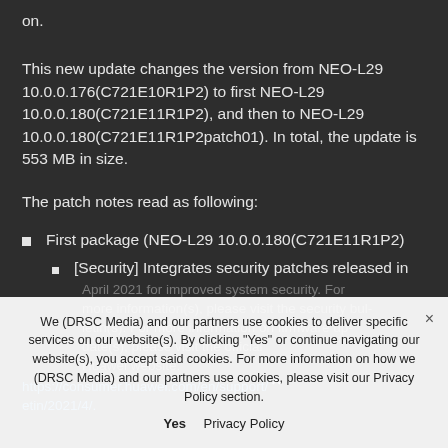on.
This new update changes the version from NEO-L29 10.0.0.176(C721E10R1P2) to first NEO-L29 10.0.0.180(C721E11R1P2), and then to NEO-L29 10.0.0.180(C721E11R1P2patch01). In total, the update is 553 MB in size.
The patch notes read as following:
First package (NEO-L29 10.0.0.180(C721E11R1P2)
[Security] Integrates security patches released in April 2021 for improved system security. For more information(s), please visit the security bulletins(s). For more information on firmware update(s), please visit the official Huawei website.
https://consumer.huawei.com/en/support/bulletin/2021/4/.
We (DRSC Media) and our partners use cookies to deliver specific services on our website(s). By clicking "Yes" or continue navigating our website(s), you accept said cookies. For more information on how we (DRSC Media) and our partners use cookies, please visit our Privacy Policy section.
Yes   Privacy Policy